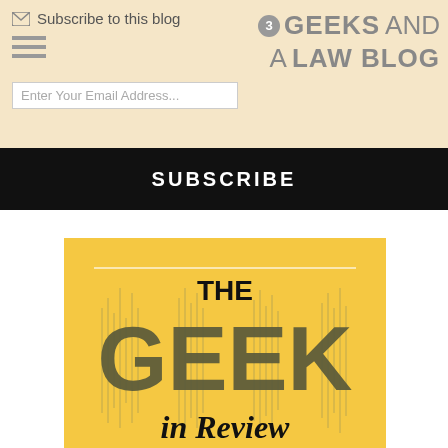Subscribe to this blog | 3 GEEKS AND A LAW BLOG
SUBSCRIBE
[Figure (illustration): Book cover for 'The Geek in Review' — yellow background with large stylized dark olive/green letters spelling THE GEEK in Review, with vertical waveform/audio line decoration behind the letters]